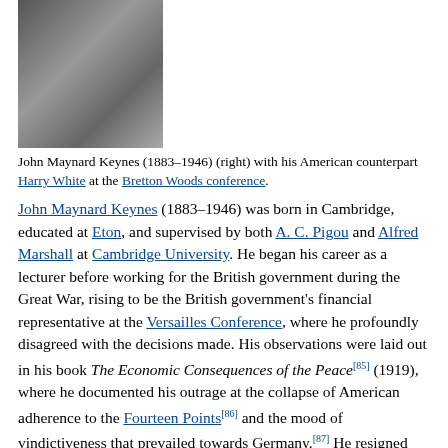[Figure (photo): Black and white photograph of John Maynard Keynes (right) with Harry White at the Bretton Woods conference]
John Maynard Keynes (1883–1946) (right) with his American counterpart Harry White at the Bretton Woods conference.
John Maynard Keynes (1883–1946) was born in Cambridge, educated at Eton, and supervised by both A. C. Pigou and Alfred Marshall at Cambridge University. He began his career as a lecturer before working for the British government during the Great War, rising to be the British government's financial representative at the Versailles Conference, where he profoundly disagreed with the decisions made. His observations were laid out in his book The Economic Consequences of the Peace[85] (1919), where he documented his outrage at the collapse of American adherence to the Fourteen Points[86] and the mood of vindictiveness that prevailed towards Germany.[87] He resigned from the conference, using extensive economic data provided by the conference records to argue that if the victors forced war reparations to be paid by the defeated Central Powers, then a world financial crisis would ensue, leading to a second world war[88]